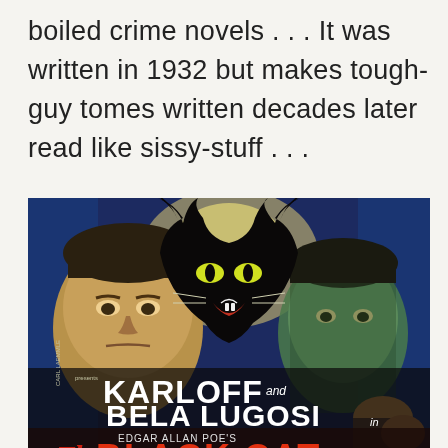boiled crime novels . . . It was written in 1932 but makes tough-guy tomes written decades later read like sissy-stuff . . .
[Figure (photo): Vintage movie poster for 'The Black Cat' (1934) featuring KARLOFF and BELA LUGOSI in Edgar Allan Poe's The Black Cat. The poster shows two menacing faces flanking a large hissing black cat in the center, with dramatic horror imagery and bold red and white lettering.]